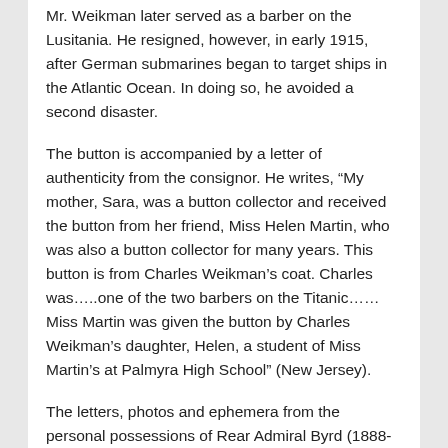Mr. Weikman later served as a barber on the Lusitania. He resigned, however, in early 1915, after German submarines began to target ships in the Atlantic Ocean. In doing so, he avoided a second disaster.
The button is accompanied by a letter of authenticity from the consignor. He writes, “My mother, Sara, was a button collector and received the button from her friend, Miss Helen Martin, who was also a button collector for many years. This button is from Charles Weikman’s coat. Charles was…..one of the two barbers on the Titanic…… Miss Martin was given the button by Charles Weikman’s daughter, Helen, a student of Miss Martin’s at Palmyra High School” (New Jersey).
The letters, photos and ephemera from the personal possessions of Rear Admiral Byrd (1888-1957) are certain to appeal to collectors who recognize the achievements of a true American hero and recipient of the Congressional Medal of Honor. Byrd claimed that his expeditions were the first to reach both the North and South Pole by air. He also discovered the dormant Mount Sidley volcano in